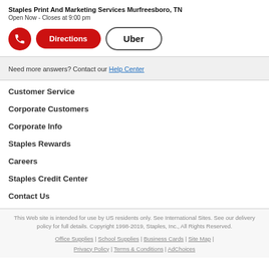Staples Print And Marketing Services Murfreesboro, TN
Open Now - Closes at 9:00 pm
[Figure (other): Three UI buttons: a red circular phone icon button, a red pill-shaped Directions button, and a white outline Uber button]
Need more answers? Contact our Help Center
Customer Service
Corporate Customers
Corporate Info
Staples Rewards
Careers
Staples Credit Center
Contact Us
This Web site is intended for use by US residents only. See International Sites. See our delivery policy for full details. Copyright 1998-2019, Staples, Inc., All Rights Reserved. Office Supplies | School Supplies | Business Cards | Site Map | Privacy Policy | Terms & Conditions | AdChoices